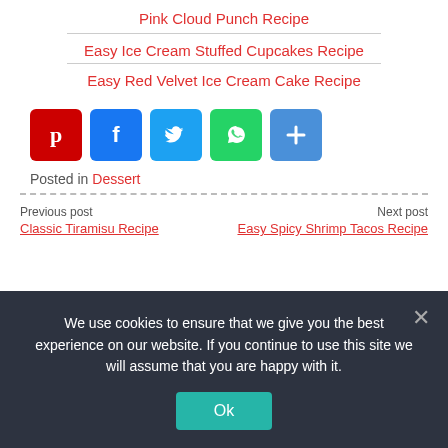Pink Cloud Punch Recipe
Easy Ice Cream Stuffed Cupcakes Recipe
Easy Red Velvet Ice Cream Cake Recipe
[Figure (other): Social share icons: Pinterest, Facebook, Twitter, WhatsApp, Share]
Posted in Dessert
Previous post
Classic Tiramisu Recipe
Next post
Easy Spicy Shrimp Tacos Recipe
We use cookies to ensure that we give you the best experience on our website. If you continue to use this site we will assume that you are happy with it.